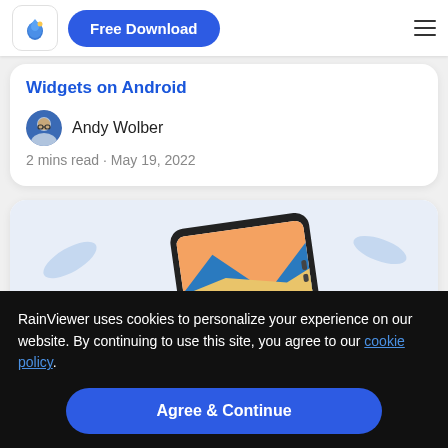Free Download [nav bar with logo and hamburger menu]
Widgets on Android
Andy Wolber
2 mins read · May 19, 2022
[Figure (photo): A hand touching a tablet screen displaying a colorful landscape wallpaper with blue and orange hues, on a floral background]
RainViewer uses cookies to personalize your experience on our website. By continuing to use this site, you agree to our cookie policy.
Agree & Continue